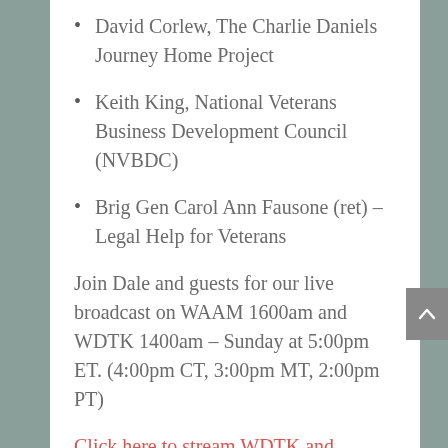David Corlew, The Charlie Daniels Journey Home Project
Keith King, National Veterans Business Development Council (NVBDC)
Brig Gen Carol Ann Fausone (ret) – Legal Help for Veterans
Join Dale and guests for our live broadcast on WAAM 1600am and WDTK 1400am – Sunday at 5:00pm ET. (4:00pm CT, 3:00pm MT, 2:00pm PT)
Click here to stream WDTK and WAAM
Have something to share? Call in during the program to ask your question or offer...